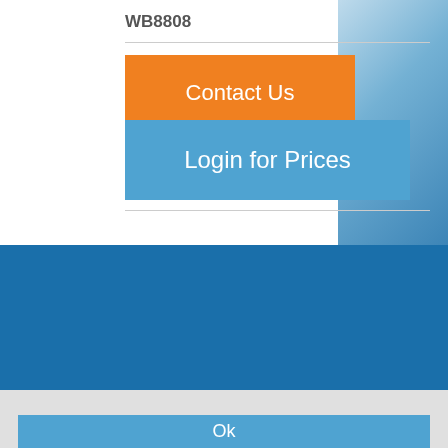WB8808
Contact Us
Login for Prices
© 2022 AA First   MENU
Powered by GOb2b
We have placed cookies on your device to help make this website better.
Ok